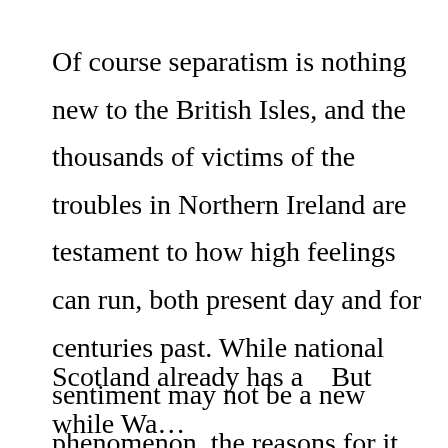Of course separatism is nothing new to the British Isles, and the thousands of victims of the troubles in Northern Ireland are testament to how high feelings can run, both present day and for centuries past. While national sentiment may not be a new phenomenon, the reasons for it have changed over the years. And in these current turbulent economic times money talks.
Scotland already has a...